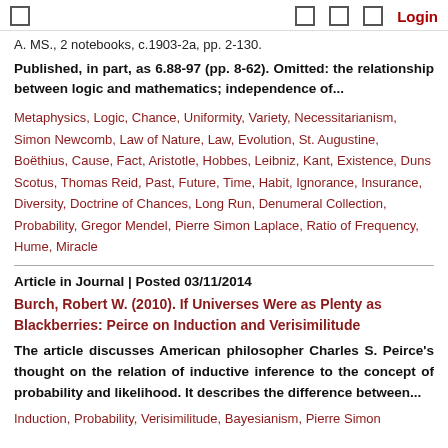Login
A. MS., 2 notebooks, c.1903-2a, pp. 2-130.
Published, in part, as 6.88-97 (pp. 8-62). Omitted: the relationship between logic and mathematics; independence of...
Metaphysics, Logic, Chance, Uniformity, Variety, Necessitarianism, Simon Newcomb, Law of Nature, Law, Evolution, St. Augustine, Boëthius, Cause, Fact, Aristotle, Hobbes, Leibniz, Kant, Existence, Duns Scotus, Thomas Reid, Past, Future, Time, Habit, Ignorance, Insurance, Diversity, Doctrine of Chances, Long Run, Denumeral Collection, Probability, Gregor Mendel, Pierre Simon Laplace, Ratio of Frequency, Hume, Miracle
Article in Journal | Posted 03/11/2014
Burch, Robert W. (2010). If Universes Were as Plenty as Blackberries: Peirce on Induction and Verisimilitude
The article discusses American philosopher Charles S. Peirce's thought on the relation of inductive inference to the concept of probability and likelihood. It describes the difference between...
Induction, Probability, Verisimilitude, Bayesianism, Pierre Simon